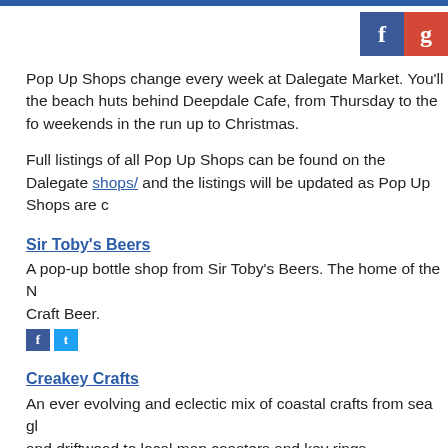[Figure (logo): Facebook and Google+ social media icons in top right corner]
Pop Up Shops change every week at Dalegate Market. You'll the beach huts behind Deepdale Cafe, from Thursday to the fo weekends in the run up to Christmas.
Full listings of all Pop Up Shops can be found on the Dalegate shops/ and the listings will be updated as Pop Up Shops are c
Sir Toby's Beers
A pop-up bottle shop from Sir Toby's Beers. The home of the N Craft Beer.
[Figure (logo): Facebook and Twitter social media icons]
Creakey Crafts
An ever evolving and eclectic mix of coastal crafts from sea gl and driftwood to local map coasters and key rings
[Figure (logo): Facebook social media icon]
Artwork by James Buttifant
James returns with his 'Pop Up Studio'. Come and see him wo purchase his ever popular limited edition prints and hand deco
[Figure (logo): Facebook social media icon]